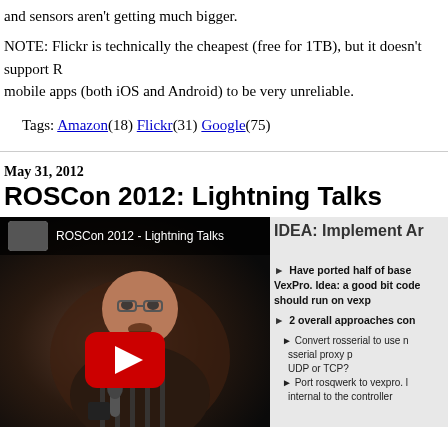and sensors aren't getting much bigger.
NOTE: Flickr is technically the cheapest (free for 1TB), but it doesn't support R mobile apps (both iOS and Android) to be very unreliable.
Tags: Amazon(18) Flickr(31) Google(75)
May 31, 2012
ROSCon 2012: Lightning Talks
[Figure (screenshot): YouTube video thumbnail for ROSCon 2012 - Lightning Talks, showing a speaker on the left and a presentation slide on the right with text about implementing ideas, VexPro, rosserial, and ROS approaches.]